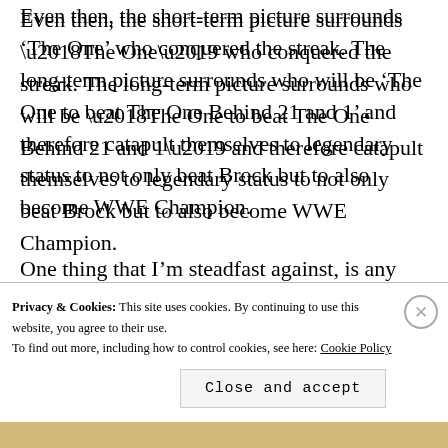Even then, the short-term picture surrounds ‘The One’ who conquered the streak. The long-term picture surrounds who will be ‘The One to beat The One Behind 21 and 1’ and therefore catapult themselves to legendary status to not only beat Brock but to also become WWE Champion.
One thing that I’m steadfast against, is any comeback for The Undertaker. There’s a...
Privacy & Cookies: This site uses cookies. By continuing to use this website, you agree to their use.
To find out more, including how to control cookies, see here: Cookie Policy